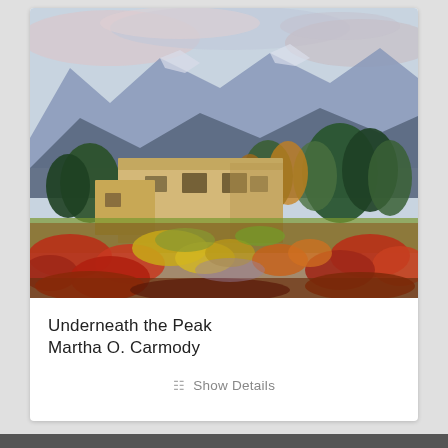[Figure (illustration): An impressionist oil painting of a Mediterranean or Southwest-style building with mountains in the background and a colorful field of red, orange, yellow, and green in the foreground. Loose, expressive brushwork. Trees behind the building. Cloudy sky with pink and blue hues.]
Underneath the Peak
Martha O. Carmody
Show Details